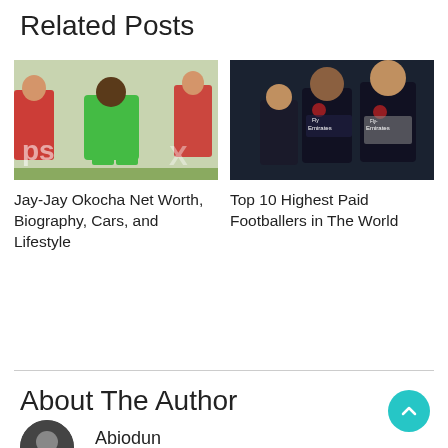Related Posts
[Figure (photo): Jay-Jay Okocha in green Nigeria jersey running on a football pitch with red-uniformed opponents in background]
Jay-Jay Okocha Net Worth, Biography, Cars, and Lifestyle
[Figure (photo): PSG footballers in dark Fly Emirates jerseys, Mbappe and Neymar visible, on a football pitch]
Top 10 Highest Paid Footballers in The World
About The Author
[Figure (photo): Circular avatar photo of author Abiodun]
Abiodun